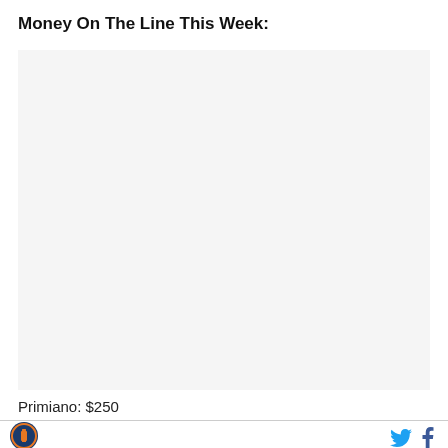Money On The Line This Week:
[Figure (other): Large blank/placeholder image area with light gray background]
Primiano: $250
[Figure (logo): Circular logo with orange and blue design, appears to be a sports/beer related logo]
[Figure (other): Twitter bird icon in blue]
[Figure (other): Facebook 'f' icon in blue]